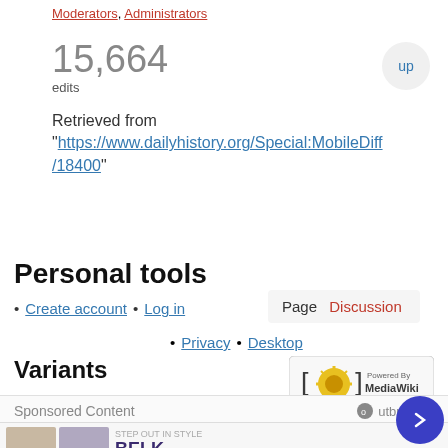Moderators, Administrators
15,664 edits
Retrieved from "https://www.dailyhistory.org/Special:MobileDiff/18400"
Personal tools
Create account • Log in
Page  Discussion
Privacy • Desktop
Variants
[Figure (logo): Powered by MediaWiki logo]
•
Sponsored Content
[Figure (screenshot): Belk advertisement: Step out in style. www.belk.com]